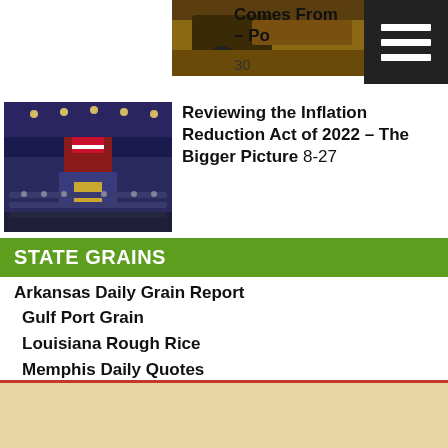[Figure (photo): Partial photo of agricultural machinery/equipment in a field, top portion only]
Comes From – Po
30
[Figure (photo): US Congress chamber interior with American flags and lit dome]
Reviewing the Inflation Reduction Act of 2022 – The Bigger Picture 8-27
STATE GRAINS
Arkansas Daily Grain Report
Gulf Port Grain
Louisiana Rough Rice
Memphis Daily Quotes
Milled Rice Prices
Mississippi Cash Grain
Missouri Grain
North Carolina Grain
North Carolina Weekly Grain
Oklahoma Grain
Richmond Norfolk Grain
South Carolina Daily Grain